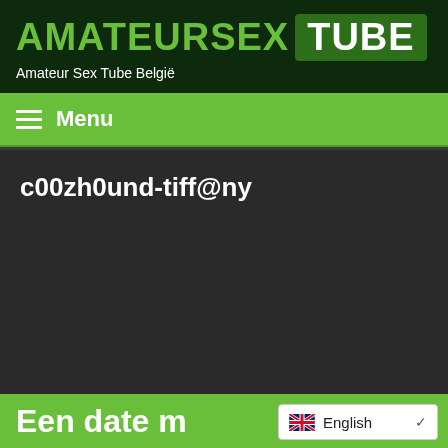AMATEURSEX TUBE — Amateur Sex Tube België
Menu
c00zh0und-tiff@ny
Een date m…
English